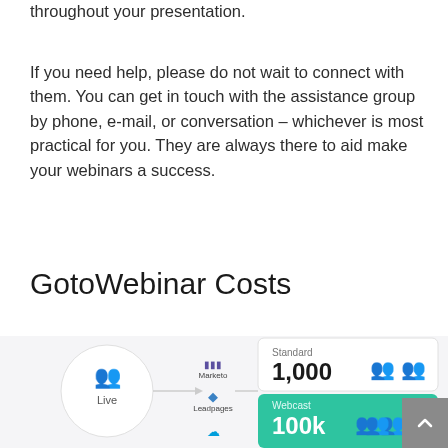throughout your presentation.
If you need help, please do not wait to connect with them. You can get in touch with the assistance group by phone, e-mail, or conversation – whichever is most practical for you. They are always there to aid make your webinars a success.
GotoWebinar Costs
[Figure (infographic): GotoWebinar pricing infographic showing a 'Live' webinar icon connected to integration logos (Marketo, Leadpages, Salesforce), with plan cards: Standard 1,000 attendees and Webcast 100k attendees with people icons. A scroll-up button appears in the lower right corner.]